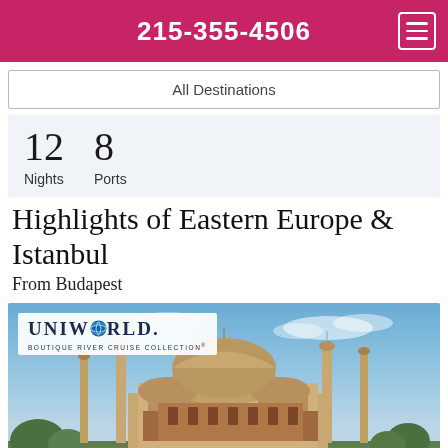215-355-4506
All Destinations
12
Nights
8
Ports
Highlights of Eastern Europe & Istanbul
From Budapest
[Figure (photo): Hagia Sophia mosque in Istanbul with minarets against a blue sky, with Uniworld Boutique River Cruise Collection logo overlay]